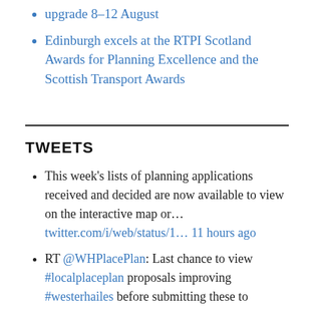upgrade 8–12 August
Edinburgh excels at the RTPI Scotland Awards for Planning Excellence and the Scottish Transport Awards
TWEETS
This week's lists of planning applications received and decided are now available to view on the interactive map or... twitter.com/i/web/status/1... 11 hours ago
RT @WHPlacePlan: Last chance to view #localplaceplan proposals improving #westerhailes before submitting these to